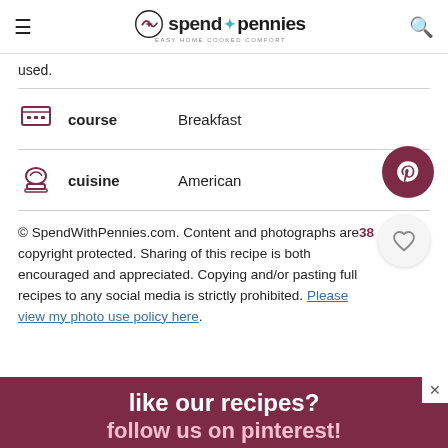≡  spend with pennies  EASY HOME COOKED COMFORT  🔍
used.
course   Breakfast
cuisine   American
© SpendWithPennies.com. Content and photographs are copyright protected. Sharing of this recipe is both encouraged and appreciated. Copying and/or pasting full recipes to any social media is strictly prohibited. Please view my photo use policy here.
like our recipes?
follow us on pinterest!